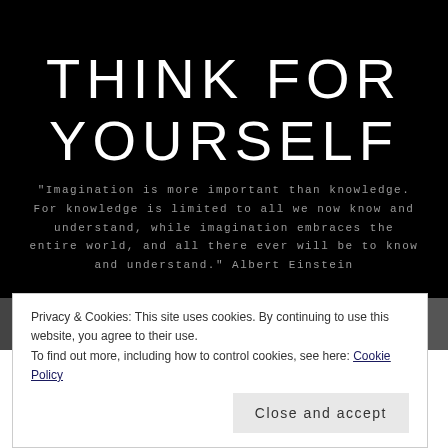THINK FOR YOURSELF
"Imagination is more important than knowledge. For knowledge is limited to all we now know and understand, while imagination embraces the entire world, and all there ever will be to know and understand." Albert Einstein
MENU
IN OUR TIME
Privacy & Cookies: This site uses cookies. By continuing to use this website, you agree to their use.
To find out more, including how to control cookies, see here: Cookie Policy
Close and accept